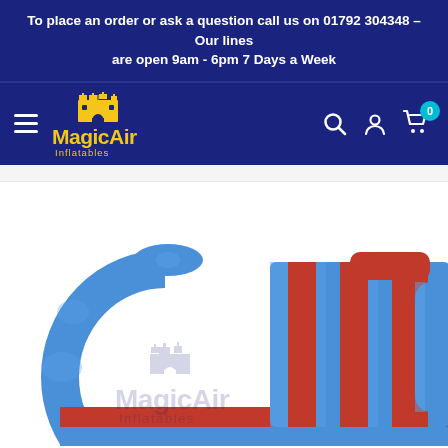To place an order or ask a question call us on 01792 304348 – Our lines are open 9am - 6pm 7 Days a Week
[Figure (logo): MagicAir Inflatables logo with castle icon in yellow, on dark navy navigation bar with hamburger menu, search, account, and cart icons]
[Figure (photo): Close-up photo of a blue and red striped inflatable bouncy castle / obstacle course piece, with a large circular arch handle on the left and a vertical striped slide/wall section on the right. MagicAir Inflatables watermark visible in the centre.]